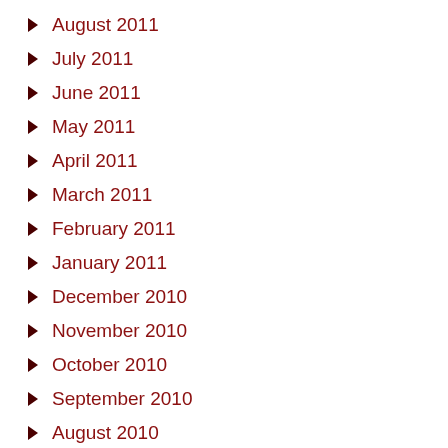August 2011
July 2011
June 2011
May 2011
April 2011
March 2011
February 2011
January 2011
December 2010
November 2010
October 2010
September 2010
August 2010
July 2010
June 2010